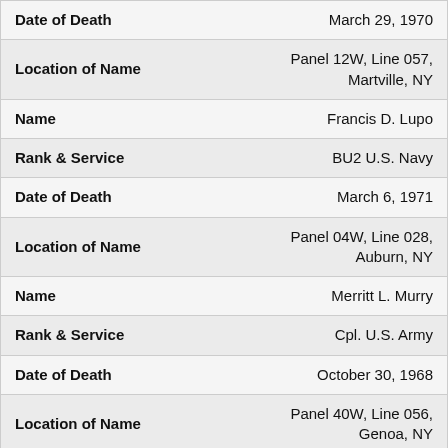| Field | Value |
| --- | --- |
| Date of Death | March 29, 1970 |
| Location of Name | Panel 12W, Line 057, Martville, NY |
| Name | Francis D. Lupo |
| Rank & Service | BU2 U.S. Navy |
| Date of Death | March 6, 1971 |
| Location of Name | Panel 04W, Line 028, Auburn, NY |
| Name | Merritt L. Murry |
| Rank & Service | Cpl. U.S. Army |
| Date of Death | October 30, 1968 |
| Location of Name | Panel 40W, Line 056, Genoa, NY |
| Name | Frank T. Nevidomsky |
| Rank & Service | PFC. U.S.M.C. |
| Date of Death | May 27, 1968 |